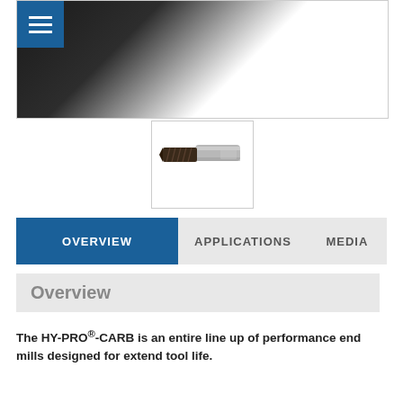[Figure (photo): Close-up photo of a dark-colored drill bit / end mill cutting tool against white background, with blue hamburger menu icon overlay in top-left corner]
[Figure (photo): Thumbnail image of an OSG HY-PRO-CARB end mill showing silver shank and dark fluted cutting end]
OVERVIEW   APPLICATIONS   MEDIA
Overview
The HY-PRO®-CARB is an entire line up of performance end mills designed for extend tool life.